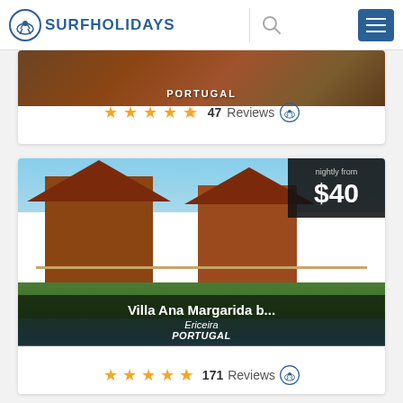SURFHOLIDAYS
[Figure (screenshot): Partial listing card showing a Portugal surf accommodation with image cropped at top, showing 4.5 stars and 47 Reviews with SurfHolidays badge]
[Figure (photo): Villa Ana Margarida b... listing card showing wooden lodge-style accommodation in Ericeira, Portugal, with nightly price from $40, fishing statue in foreground, 4.5 stars and 171 Reviews]